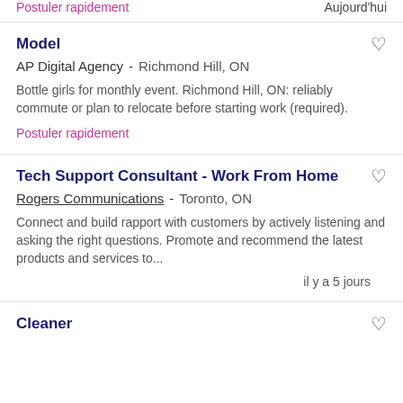Postuler rapidement
Aujourd'hui
Model
AP Digital Agency - Richmond Hill, ON
Bottle girls for monthly event. Richmond Hill, ON: reliably commute or plan to relocate before starting work (required).
Postuler rapidement
Tech Support Consultant - Work From Home
Rogers Communications - Toronto, ON
Connect and build rapport with customers by actively listening and asking the right questions. Promote and recommend the latest products and services to...
il y a 5 jours
Cleaner